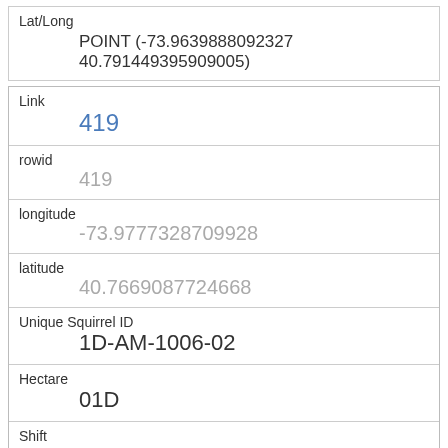| Lat/Long | POINT (-73.9639888092327 40.791449395909005) |
| Link | 419 |
| rowid | 419 |
| longitude | -73.9777328709928 |
| latitude | 40.7669087724668 |
| Unique Squirrel ID | 1D-AM-1006-02 |
| Hectare | 01D |
| Shift | AM |
| Date | 10062018 |
| Hectare Squirrel Number | 2 |